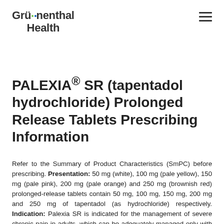[Figure (logo): Grünenthal Health logo with green and blue umlaut dots above the u]
PALEXIA® SR (tapentadol hydrochloride) Prolonged Release Tablets Prescribing Information
Refer to the Summary of Product Characteristics (SmPC) before prescribing. Presentation: 50 mg (white), 100 mg (pale yellow), 150 mg (pale pink), 200 mg (pale orange) and 250 mg (brownish red) prolonged-release tablets contain 50 mg, 100 mg, 150 mg, 200 mg and 250 mg of tapentadol (as hydrochloride) respectively. Indication: Palexia SR is indicated for the management of severe chronic pain in adults, which can be adequately managed only with opioid